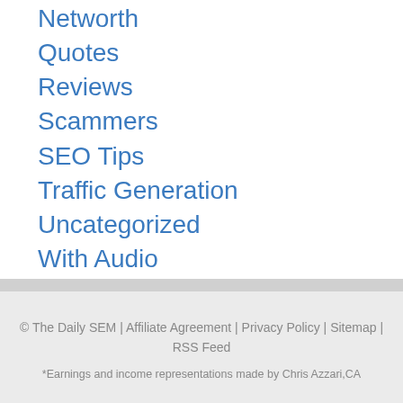Networth
Quotes
Reviews
Scammers
SEO Tips
Traffic Generation
Uncategorized
With Audio
Youtube SEO Tips
© The Daily SEM | Affiliate Agreement | Privacy Policy | Sitemap | RSS Feed
*Earnings and income representations made by Chris Azzari,CA